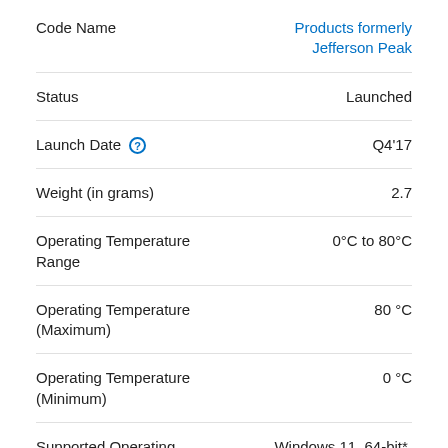| Field | Value |
| --- | --- |
| Code Name | Products formerly Jefferson Peak |
| Status | Launched |
| Launch Date | Q4'17 |
| Weight (in grams) | 2.7 |
| Operating Temperature Range | 0°C to 80°C |
| Operating Temperature (Maximum) | 80 °C |
| Operating Temperature (Minimum) | 0 °C |
| Supported Operating Systems | Windows 11, 64-bit*, Windows 10, 64-bit*, Linux* |